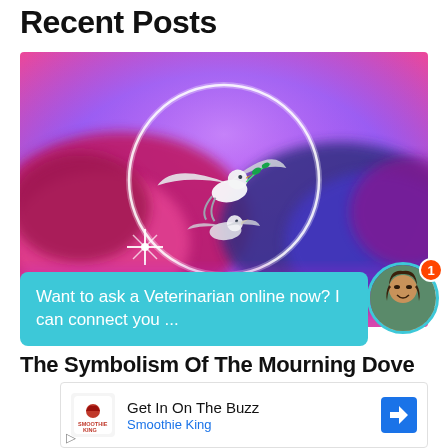Recent Posts
[Figure (photo): Artistic photo of a white dove carrying an olive branch, surrounded by colorful pink, magenta, and purple smoke clouds against a vibrant purple-to-pink gradient background, with a glowing white circle in the center.]
Want to ask a Veterinarian online now? I can connect you ...
The Symbolism Of The Mourning Dove
[Figure (screenshot): Advertisement: Get In On The Buzz - Smoothie King, with Smoothie King logo and a blue navigation arrow icon.]